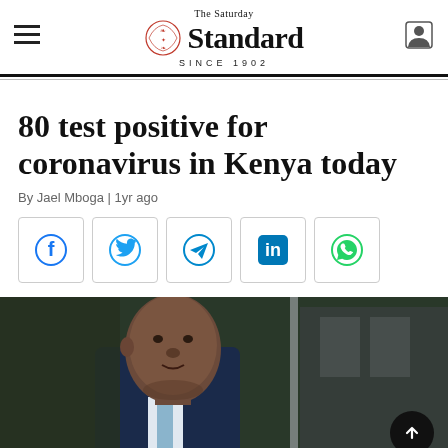The Saturday Standard SINCE 1902
80 test positive for coronavirus in Kenya today
By Jael Mboga | 1yr ago
[Figure (other): Social media share buttons: Facebook, Twitter, Telegram, LinkedIn, WhatsApp]
[Figure (photo): Photo of a man in a suit speaking at a press briefing, outdoors with green foliage in background]